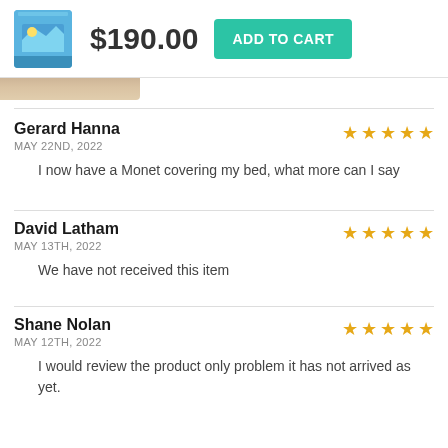$190.00 ADD TO CART
Gerard Hanna
MAY 22ND, 2022
I now have a Monet covering my bed, what more can I say
David Latham
MAY 13TH, 2022
We have not received this item
Shane Nolan
MAY 12TH, 2022
I would review the product only problem it has not arrived as yet.